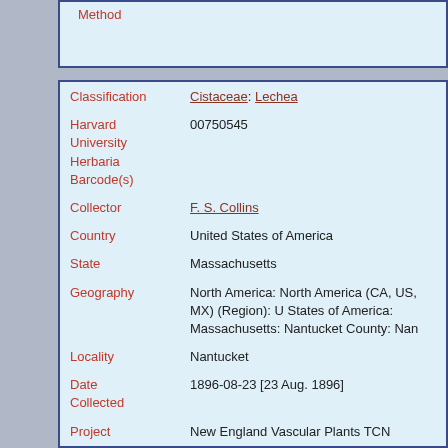Method
| Field | Value |
| --- | --- |
| Classification | Cistaceae: Lechea |
| Harvard University Herbaria Barcode(s) | 00750545 |
| Collector | F. S. Collins |
| Country | United States of America |
| State | Massachusetts |
| Geography | North America: North America (CA, US, MX) (Region): United States of America: Massachusetts: Nantucket County: Nantucket |
| Locality | Nantucket |
| Date Collected | 1896-08-23 [23 Aug. 1896] |
| Project | New England Vascular Plants TCN |
| GUID | http://purl.oclc.org/net/edu.harvard.huh/guid/uuid/aaf...569b-44b0-a0bf-fc2b86fbc60e |
| Harvard University Herbaria | 00750545 |